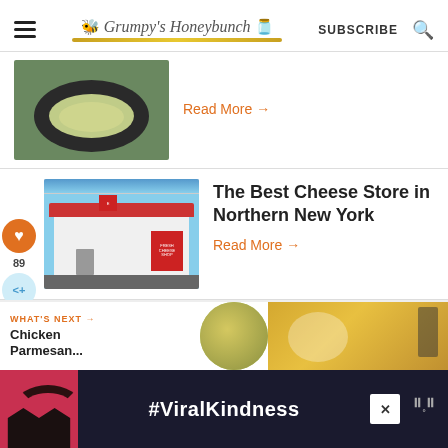Grumpy's Honeybunch | SUBSCRIBE
[Figure (photo): Food blog article thumbnail: bowl of food with pasta or grains on a green background]
Read More →
[Figure (photo): White small building cheese store with red sign in Northern New York]
The Best Cheese Store in Northern New York
Read More →
[Figure (photo): What's Next bar with thumbnail of Chicken Parmesan dish]
[Figure (photo): Advertisement banner: #ViralKindness with hands making heart shape on dark background]